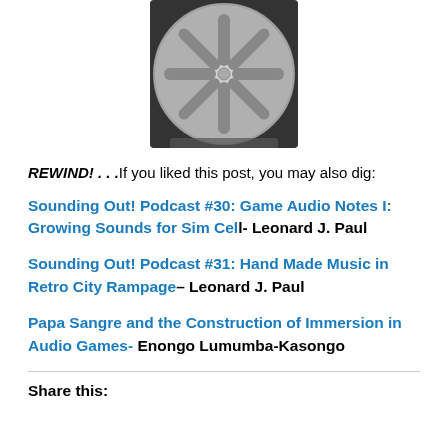[Figure (photo): A silver reel-to-reel tape spool photographed against a dark background]
REWIND! . . .If you liked this post, you may also dig:
Sounding Out! Podcast #30: Game Audio Notes I: Growing Sounds for Sim Cell- Leonard J. Paul
Sounding Out! Podcast #31: Hand Made Music in Retro City Rampage– Leonard J. Paul
Papa Sangre and the Construction of Immersion in Audio Games- Enongo Lumumba-Kasongo
Share this: